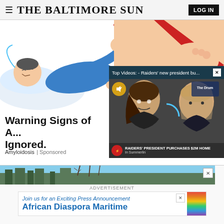= THE BALTIMORE SUN | LOG IN
[Figure (illustration): Illustration of a person lying down in blue clothing, appearing unwell, with a hand reaching from the upper right. Part of an ad for Amyloidosis warning signs.]
[Figure (screenshot): Video overlay showing 'Top Videos: - Raiders' new president bu...' with an X close button. Below is a video frame showing two people, with a mute button (gold circle with speaker icon), loading arc, and bottom bar showing Raiders logo and text 'RAIDERS' PRESIDENT PURCHASES $2M HOME In Summerlin']
Warning Signs of A... Ignored.
Amyloidosis | Sponsored
[Figure (photo): Partial photo banner showing trees and sky, with an X close button on the right]
ADVERTISEMENT
[Figure (other): Ad box: 'Join us for an Exciting Press Announcement' / 'African Diaspora Maritime' with rainbow stripe on right and X close button]